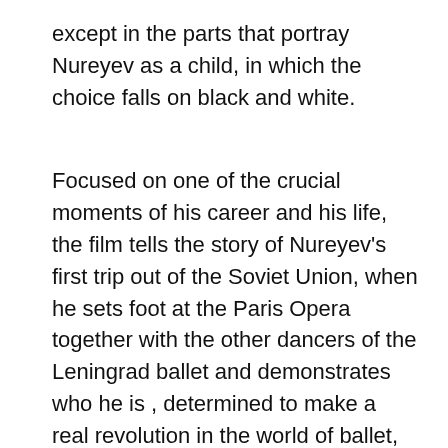except in the parts that portray Nureyev as a child, in which the choice falls on black and white.
Focused on one of the crucial moments of his career and his life, the film tells the story of Nureyev's first trip out of the Soviet Union, when he sets foot at the Paris Opera together with the other dancers of the Leningrad ballet and demonstrates who he is , determined to make a real revolution in the world of ballet, rendering justice to the figure of the male, subordinate until then, to that of his female partner. Beyond the biographical story more or less known to enthusiasts and non-enthusiasts, there are two points, as far as I am concerned: